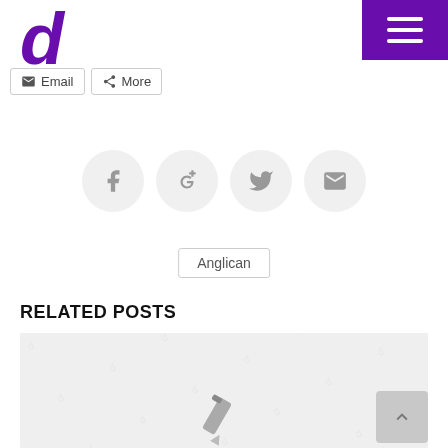[Figure (logo): Purple letter 'd' logo for a website]
[Figure (other): Purple hamburger menu button in top-right corner]
[Figure (other): Email and More share buttons]
[Figure (other): Four social sharing icon circles: Facebook, Google+, Twitter, Email]
Anglican
RELATED POSTS
[Figure (photo): Related post image placeholder with pencil/microphone icon]